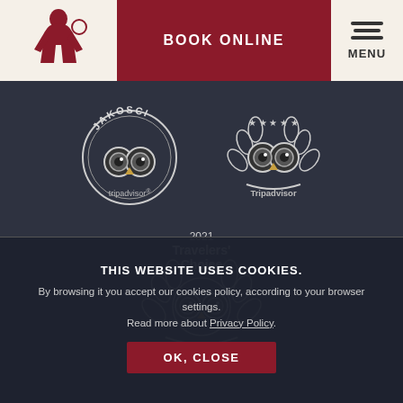[Figure (logo): Restaurant logo - silhouette of a waiter/figure in red on cream background]
BOOK ONLINE
[Figure (logo): Hamburger menu icon with MENU text]
[Figure (logo): TripAdvisor JAKOSCI award badge (circle style) with owl logo]
[Figure (logo): TripAdvisor award badge (wreath style) with owl logo]
[Figure (logo): TripAdvisor 2021 Travelers Choice award badge with wreath and owl logo]
[Figure (logo): TripAdvisor large color logo with owl icon (yellow/green)]
THIS WEBSITE USES COOKIES.
By browsing it you accept our cookies policy, according to your browser settings. Read more about Privacy Policy.
OK, CLOSE